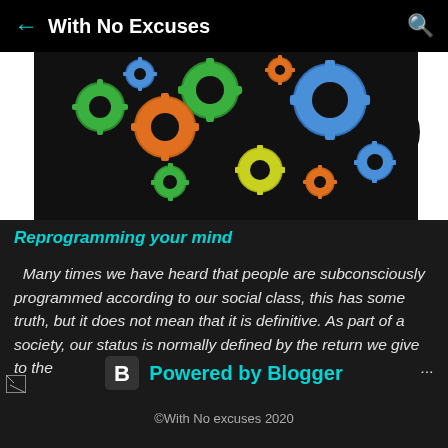← With No Excuses 🔍
[Figure (illustration): Colorful gears of various sizes (green, blue, orange, yellow) arranged in the shape of a human head silhouette against a black background, representing mind/brain concept.]
Reprogramming your mind
Many times we have heard that people are subconsciously programmed according to our social class, this has some truth, but it does not mean that it is definitive. As part of a society, our status is normally defined by the return we give to the ...
[Figure (illustration): Broken/missing image icon (small)]
Powered by Blogger
©With No excuses 2020